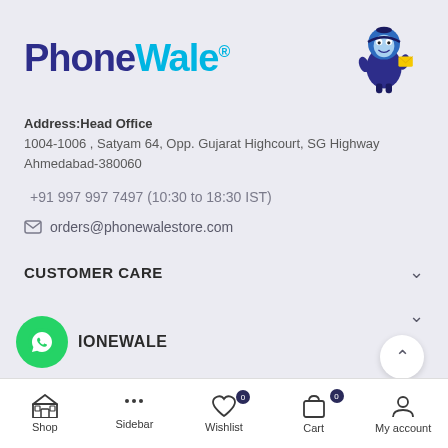[Figure (logo): PhoneWale logo with mascot character holding a phone]
Address:Head Office
1004-1006 , Satyam 64, Opp. Gujarat Highcourt, SG Highway
Ahmedabad-380060
+91 997 997 7497 (10:30 to 18:30 IST)
orders@phonewalestore.com
CUSTOMER CARE
IONEWALE
Shop  Sidebar  Wishlist  Cart  My account